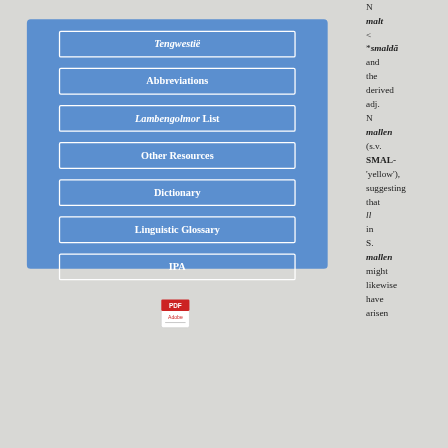[Figure (screenshot): Blue navigation panel with buttons: Tengwestië, Abbreviations, Lambengolmor List, Other Resources, Dictionary, Linguistic Glossary, IPA, and a PDF icon at the bottom]
N malt < *smaldā and the derived adj. N mallen (s.v. SMAL- 'yellow'), suggesting that ll in S. mallen might likewise have arisen